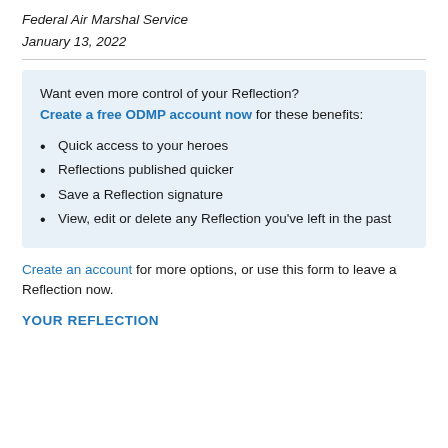Federal Air Marshal Service
January 13, 2022
Want even more control of your Reflection? Create a free ODMP account now for these benefits:
Quick access to your heroes
Reflections published quicker
Save a Reflection signature
View, edit or delete any Reflection you've left in the past
Create an account for more options, or use this form to leave a Reflection now.
YOUR REFLECTION